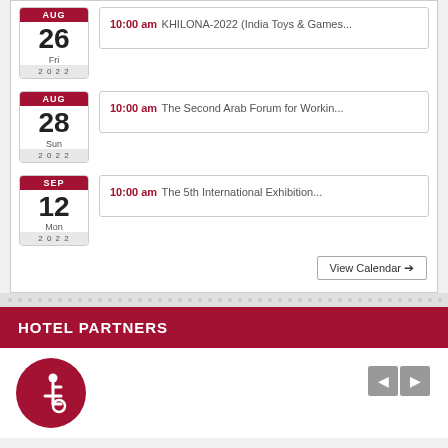10:00 am KHILONA-2022 (India Toys & Games... — Aug 26, Fri, 2022
10:00 am The Second Arab Forum for Workin... — Aug 28, Sun, 2022
10:00 am The 5th International Exhibition... — Sep 12, Mon, 2022
View Calendar →
HOTEL PARTNERS
[Figure (illustration): Red circle with wheelchair accessibility icon. Navigation left/right arrow buttons.]